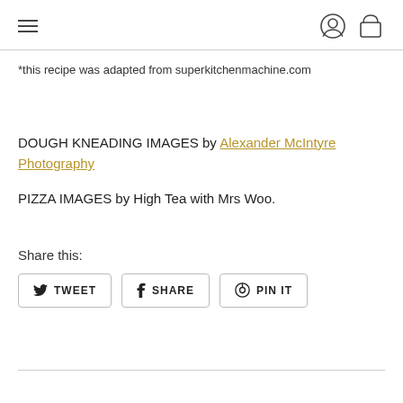*this recipe was adapted from superkitchenmachine.com
DOUGH KNEADING IMAGES by Alexander McIntyre Photography
PIZZA IMAGES by High Tea with Mrs Woo.
Share this:
TWEET  SHARE  PIN IT